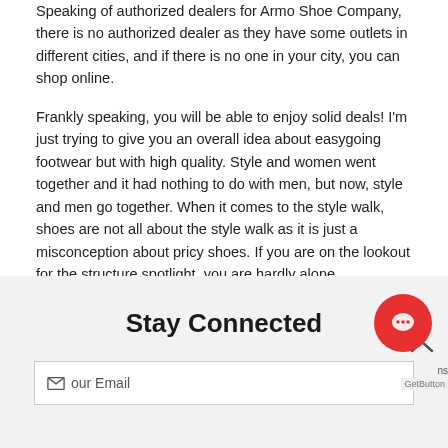Speaking of authorized dealers for Armo Shoe Company, there is no authorized dealer as they have some outlets in different cities, and if there is no one in your city, you can shop online.
Frankly speaking, you will be able to enjoy solid deals! I'm just trying to give you an overall idea about easygoing footwear but with high quality. Style and women went together and it had nothing to do with men, but now, style and men go together. When it comes to the style walk, shoes are not all about the style walk as it is just a misconception about pricy shoes. If you are on the lookout for the structure spotlight, you are hardly alone.
Stay Connected
Your Email